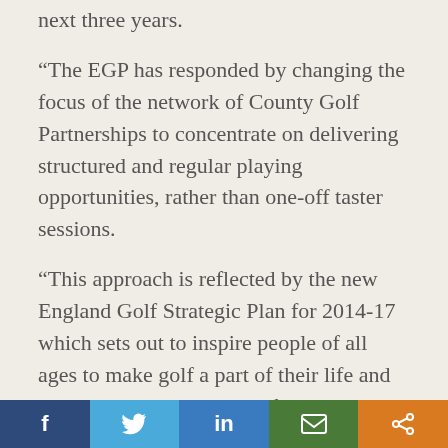next three years.
“The EGP has responded by changing the focus of the network of County Golf Partnerships to concentrate on delivering structured and regular playing opportunities, rather than one-off taster sessions.
“This approach is reflected by the new England Golf Strategic Plan for 2014-17 which sets out to inspire people of all ages to make golf a part of their life and aims to reverse the trend of declining club membership.
Facebook | Twitter | LinkedIn | Email | Share